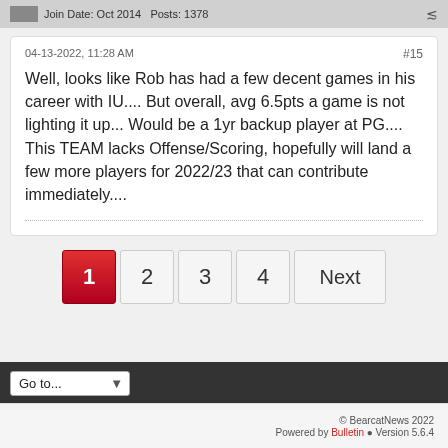Join Date: Oct 2014   Posts: 1378
04-13-2022, 11:28 AM
#15
Well, looks like Rob has had a few decent games in his career with IU.... But overall, avg 6.5pts a game is not lighting it up... Would be a 1yr backup player at PG.... This TEAM lacks Offense/Scoring, hopefully will land a few more players for 2022/23 that can contribute immediately....
© BearcatNews 2022